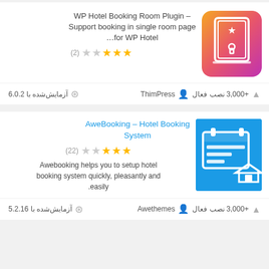[Figure (screenshot): Plugin card 1: WP Hotel Booking Room Plugin with gradient orange-pink icon showing a door with star. Rating: 2 reviews, 3 gold stars (out of 5). Description text in English and Persian. Footer: ThimPress author, +3,000 active installs, tested with 6.0.2.]
[Figure (screenshot): Plugin card 2: AweBooking – Hotel Booking System with blue icon showing a calendar and house. Rating: 22 reviews, 3 gold stars. Description: Awebooking helps you to setup hotel booking system quickly, pleasantly and easily. Footer: Awethemes author, +3,000 active installs, tested with 5.2.16.]